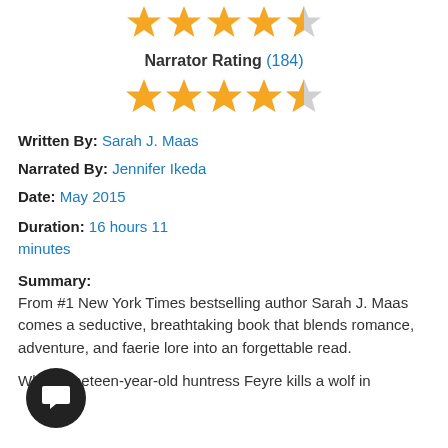[Figure (other): 5 stars (4.5 filled gold, 0.5 grey) at top of page — overall rating stars]
Narrator Rating (184)
[Figure (other): 4.5 gold stars for narrator rating]
Written By: Sarah J. Maas
Narrated By: Jennifer Ikeda
Date: May 2015
Duration: 16 hours 11 minutes
Summary:
From #1 New York Times bestselling author Sarah J. Maas comes a seductive, breathtaking book that blends romance, adventure, and faerie lore into an forgettable read.
When nineteen-year-old huntress Feyre kills a wolf in